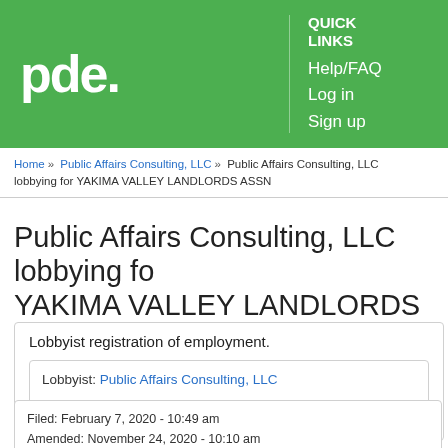pde. QUICK LINKS Help/FAQ Log in Sign up
Home » Public Affairs Consulting, LLC » Public Affairs Consulting, LLC lobbying for YAKIMA VALLEY LANDLORDS ASSN
Public Affairs Consulting, LLC lobbying for YAKIMA VALLEY LANDLORDS ASSN
Lobbyist registration of employment.
Lobbyist: Public Affairs Consulting, LLC
Client: YAKIMA VALLEY LANDLORDS ASSN
Filed: February 7, 2020 - 10:49 am
Amended: November 24, 2020 - 10:10 am